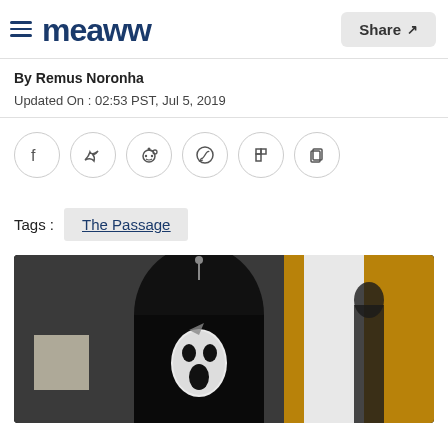Meaww — Share
By Remus Noronha
Updated On : 02:53 PST, Jul 5, 2019
[Figure (infographic): Social sharing icons: Facebook, Twitter, Reddit, WhatsApp, Flipboard, Copy]
Tags : The Passage
[Figure (photo): A dark image showing a Ghostface (Scream) mask hanging on a hanger, with a yellow and white background visible on the right side]